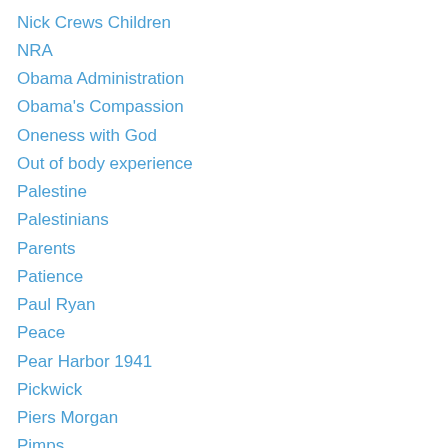Nick Crews Children
NRA
Obama Administration
Obama's Compassion
Oneness with God
Out of body experience
Palestine
Palestinians
Parents
Patience
Paul Ryan
Peace
Pear Harbor 1941
Pickwick
Piers Morgan
Pimps
Planned Parenthood
POLITICIANS AND THE NRA
Politics
Politics 2016